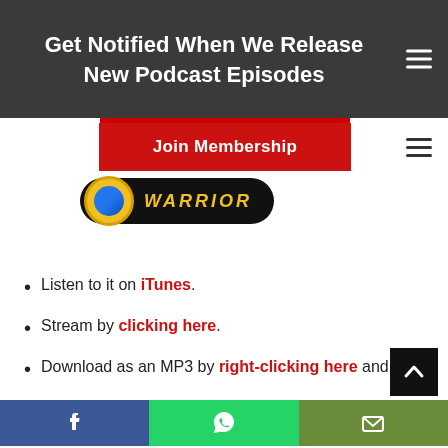Get Notified When We Release New Podcast Episodes
[Figure (other): Red Join Membership button and hamburger menu icon]
[Figure (logo): Warrior podcast logo banner - black pill shape with yellow circle and WARRIOR text in yellow italic]
Listen to it on iTunes.
Stream by clicking here.
Download as an MP3 by right-clicking here and
[Figure (other): Bottom share bar with Facebook, WhatsApp, and email icons]